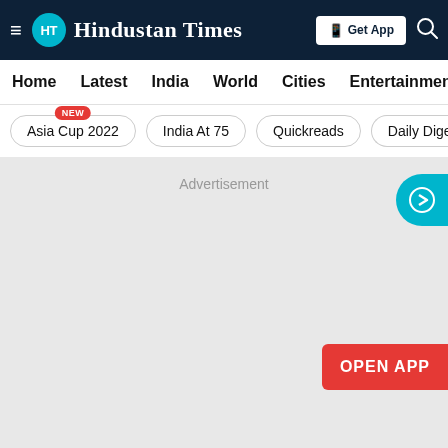Hindustan Times
Home
Latest
India
World
Cities
Entertainment
Asia Cup 2022 NEW
India At 75
Quickreads
Daily Dige
[Figure (screenshot): Advertisement placeholder area with grey background, a teal circular arrow button on top-right, and an orange-red 'OPEN APP' button on the bottom-right]